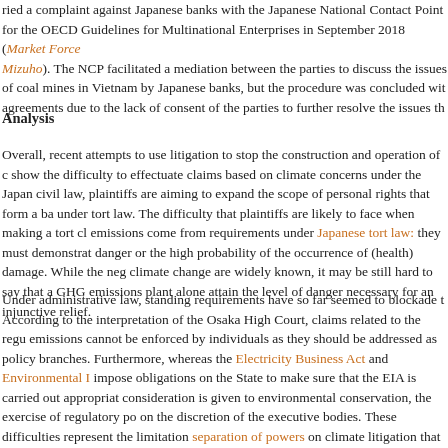ried a complaint against Japanese banks with the Japanese National Contact Point for the OECD Guidelines for Multinational Enterprises in September 2018 (Market Forces v Mizuho). The NCP facilitated a mediation between the parties to discuss the issues of coal mines in Vietnam by Japanese banks, but the procedure was concluded with agreements due to the lack of consent of the parties to further resolve the issues th...
Analysis
Overall, recent attempts to use litigation to stop the construction and operation of c... show the difficulty to effectuate claims based on climate concerns under the Japan... civil law, plaintiffs are aiming to expand the scope of personal rights that form a ba... under tort law. The difficulty that plaintiffs are likely to face when making a tort cl... emissions come from requirements under Japanese tort law: they must demonstrat... danger or the high probability of the occurrence of (health) damage. While the neg... climate change are widely known, it may be still hard to say that a GHG emissions... plant alone attain the level of danger necessary for an injunctive relief.
Under administrative law, standing requirements have so far seemed to blockade th... According to the interpretation of the Osaka High Court, claims related to the regu... emissions cannot be enforced by individuals as they should be addressed as policy... branches. Furthermore, whereas the Electricity Business Act and Environmental I... impose obligations on the State to make sure that the EIA is carried out appropriate... consideration is given to environmental conservation, the exercise of regulatory po... on the discretion of the executive bodies. These difficulties represent the limitation... separation of powers on climate litigation that are also seen in other jurisdictions...